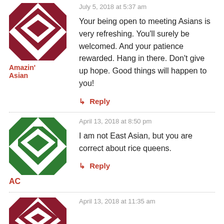[Figure (illustration): Avatar icon with maroon/dark red geometric quilt pattern on white background]
Amazin' Asian
July 5, 2018 at 5:37 am
Your being open to meeting Asians is very refreshing. You'll surely be welcomed. And your patience rewarded. Hang in there. Don't give up hope. Good things will happen to you!
↳ Reply
[Figure (illustration): Avatar icon with green geometric quilt pattern on white background]
AC
April 13, 2018 at 8:50 pm
I am not East Asian, but you are correct about rice queens.
↳ Reply
[Figure (illustration): Avatar icon with dark red/maroon geometric quilt pattern on white background, partially visible at bottom]
April 13, 2018 at 11:35 am